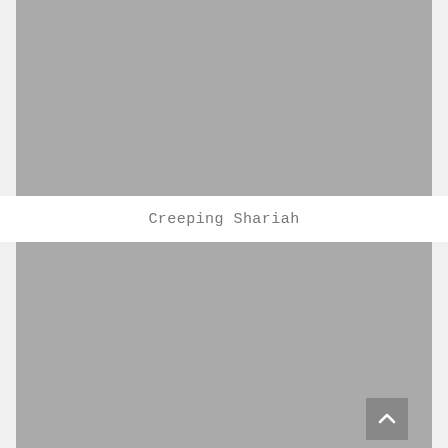[Figure (photo): Gray placeholder image at top of page]
Creeping Shariah
[Figure (photo): Gray placeholder image at bottom of page]